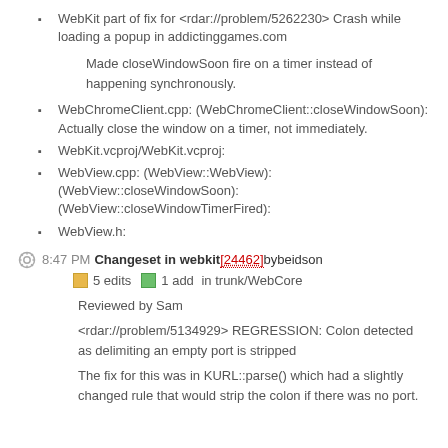WebKit part of fix for <rdar://problem/5262230> Crash while loading a popup in addictinggames.com
Made closeWindowSoon fire on a timer instead of happening synchronously.
WebChromeClient.cpp: (WebChromeClient::closeWindowSoon): Actually close the window on a timer, not immediately.
WebKit.vcproj/WebKit.vcproj:
WebView.cpp: (WebView::WebView): (WebView::closeWindowSoon): (WebView::closeWindowTimerFired):
WebView.h:
8:47 PM Changeset in webkit [24462] by beidson
5 edits  1 add  in trunk/WebCore
Reviewed by Sam
<rdar://problem/5134929> REGRESSION: Colon detected as delimiting an empty port is stripped
The fix for this was in KURL::parse() which had a slightly changed rule that would strip the colon if there was no port.